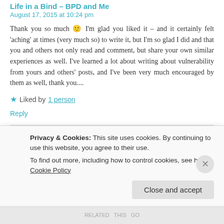Life in a Bind – BPD and Me
August 17, 2015 at 10:24 pm
Thank you so much 🙂 I'm glad you liked it – and it certainly felt 'aching' at times (very much so) to write it, but I'm so glad I did and that you and others not only read and comment, but share your own similar experiences as well. I've learned a lot about writing about vulnerability from yours and others' posts, and I've been very much encouraged by them as well, thank you....
★ Liked by 1 person
Reply
Privacy & Cookies: This site uses cookies. By continuing to use this website, you agree to their use.
To find out more, including how to control cookies, see here: Cookie Policy
Close and accept